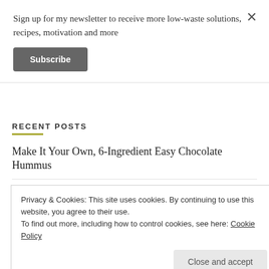Sign up for my newsletter to receive more low-waste solutions, recipes, motivation and more
Subscribe
RECENT POSTS
Make It Your Own, 6-Ingredient Easy Chocolate Hummus
Focaccia Made with Sourdough Discard and Scrappy Toppings
Privacy & Cookies: This site uses cookies. By continuing to use this website, you agree to their use.
To find out more, including how to control cookies, see here: Cookie Policy
Close and accept
6 ways to love wheat berries and how to cook them